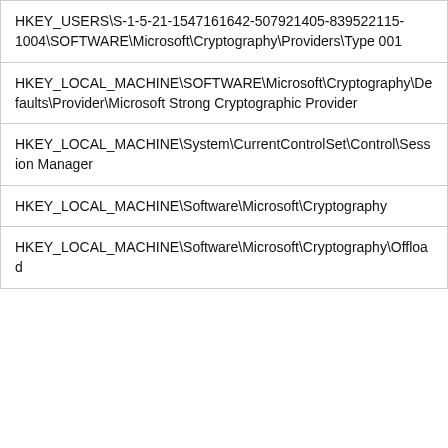| HKEY_USERS\S-1-5-21-1547161642-507921405-839522115-1004\SOFTWARE\Microsoft\Cryptography\Providers\Type 001 |
| HKEY_LOCAL_MACHINE\SOFTWARE\Microsoft\Cryptography\Defaults\Provider\Microsoft Strong Cryptographic Provider |
| HKEY_LOCAL_MACHINE\System\CurrentControlSet\Control\Session Manager |
| HKEY_LOCAL_MACHINE\Software\Microsoft\Cryptography |
| HKEY_LOCAL_MACHINE\Software\Microsoft\Cryptography\Offload |
NOTICE: We have updated our privacy terms and
[Figure (screenshot): Advertisement banner for Tally app: 'Fast credit card payoff' with a green Download Now button and close/help icons.]